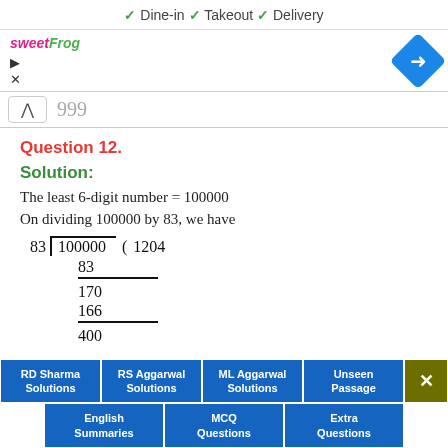✓ Dine-in  ✓ Takeout  ✓ Delivery
[Figure (screenshot): sweetFrog logo and navigation icon ad banner with play/close controls]
999
Question 12.
Solution:
The least 6-digit number = 100000
On dividing 100000 by 83, we have
RD Sharma Solutions | RS Aggarwal Solutions | ML Aggarwal Solutions | Unseen Passage | English Summaries | MCQ Questions | Extra Questions